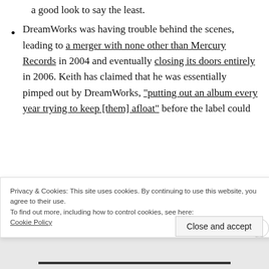a good look to say the least.
DreamWorks was having trouble behind the scenes, leading to a merger with none other than Mercury Records in 2004 and eventually closing its doors entirely in 2006. Keith has claimed that he was essentially pimped out by DreamWorks, “putting out an album every year trying to keep [them] afloat” before the label could
Privacy & Cookies: This site uses cookies. By continuing to use this website, you agree to their use.
To find out more, including how to control cookies, see here: Cookie Policy